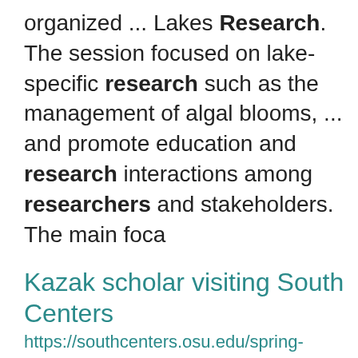organized ... Lakes Research. The session focused on lake-specific research such as the management of algal blooms, ... and promote education and research interactions among researchers and stakeholders. The main foca
Kazak scholar visiting South Centers
https://southcenters.osu.edu/spring-summer-2022/kazak-scholar-visiting-south-centers
was assigned the “National Research University” category in 2014 that resulted in collaboration with ... Kazakhstan government. His academic teaching and research interests focused on land reclamation and ... his strong desire to participate at The Ohio State